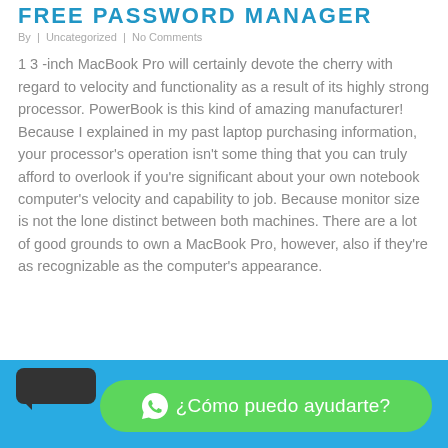FREE PASSWORD MANAGER
By | Uncategorized | No Comments
1 3 -inch MacBook Pro will certainly devote the cherry with regard to velocity and functionality as a result of its highly strong processor. PowerBook is this kind of amazing manufacturer! Because I explained in my past laptop purchasing information, your processor's operation isn't some thing that you can truly afford to overlook if you're significant about your own notebook computer's velocity and capability to job. Because monitor size is not the lone distinct between both machines. There are a lot of good grounds to own a MacBook Pro, however, also if they're as recognizable as the computer's appearance.
¿Cómo puedo ayudarte?